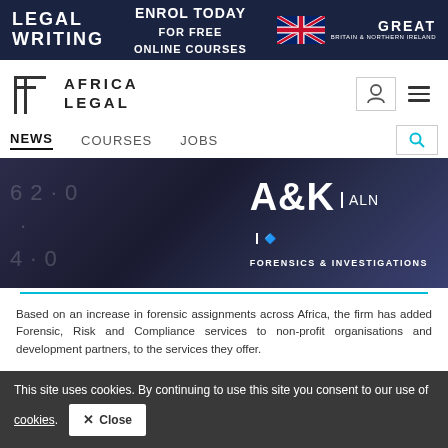[Figure (screenshot): Dark navy banner advertisement: LEGAL WRITING on left, ENROL TODAY FOR FREE ONLINE COURSES in center, Great Britain & Northern Ireland badge with Union Jack on right]
[Figure (logo): Africa Legal logo: geometric 'LE' icon with text AFRICA LEGAL, plus user icon and hamburger menu on right]
NEWS   COURSES   JOBS
[Figure (photo): A&K ALN Forensics & Investigations dark banner image with circular data visualization graphics]
Based on an increase in forensic assignments across Africa, the firm has added Forensic, Risk and [Compliance services to non-profit] organisations and development partners, to the services they offer.
This site uses cookies. By continuing to use this site you consent to our use of cookies.